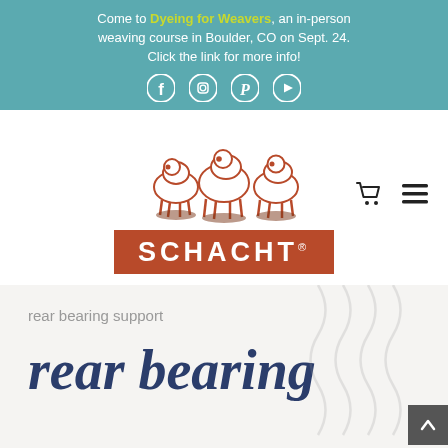Come to Dyeing for Weavers, an in-person weaving course in Boulder, CO on Sept. 24. Click the link for more info!
[Figure (logo): Schacht Spindle Company logo: three sheep in burnt-orange outline above a red-orange bar with white text SCHACHT and registered trademark symbol]
rear bearing support
rear bearing